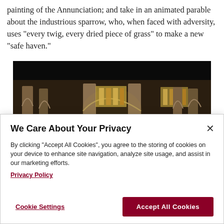painting of the Annunciation; and take in an animated parable about the industrious sparrow, who, when faced with adversity, uses "every twig, every dried piece of grass" to make a new "safe haven."
[Figure (photo): Interior of a gothic cathedral with arched columns and stained glass windows, dimly lit with warm tones]
We Care About Your Privacy

By clicking "Accept All Cookies", you agree to the storing of cookies on your device to enhance site navigation, analyze site usage, and assist in our marketing efforts.
Privacy Policy

Cookie Settings    Accept All Cookies